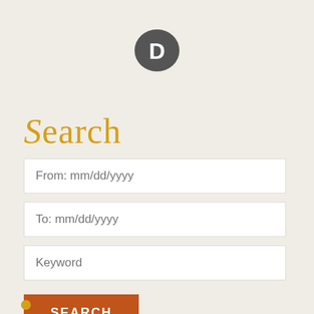[Figure (logo): Disqus logo: dark gray speech bubble with white letter D]
Search
From: mm/dd/yyyy
To: mm/dd/yyyy
Keyword
SEARCH